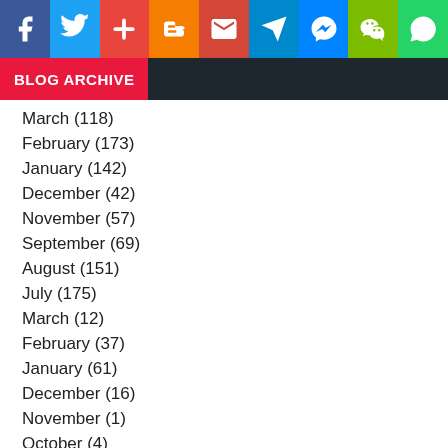[Figure (infographic): Social media icon bar with Facebook, Twitter, Google+, Blogger, Gmail, Telegram, Messenger, WeChat, WhatsApp icons]
BLOG ARCHIVE
March (118)
February (173)
January (142)
December (42)
November (57)
September (69)
August (151)
July (175)
March (12)
February (37)
January (61)
December (16)
November (1)
October (4)
April (4)